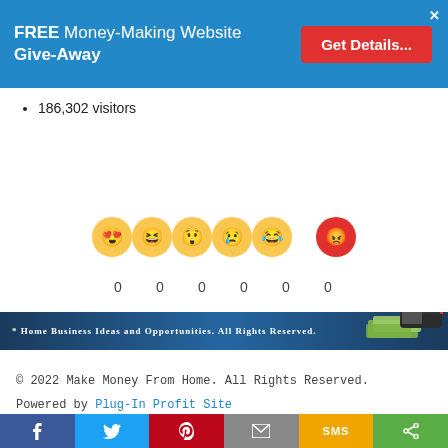FREE Money-Making Website Give-Away | Get Details...
186,302 visitors
[Figure (illustration): Six emoji reaction faces (heart-eyes, grinning squinting, shocked, crying, angry) with counts 0 0 0 0 0 0 below them]
[Figure (illustration): Footer banner reading: HOME BUSINESS IDEAS AND OPPORTUNITIES. ALL RIGHTS RESERVED. with a mailbox overflowing with money on the right side.]
© 2022 Make Money From Home. All Rights Reserved.
Powered by Plug-In Profit Site
Social share buttons: Facebook, Twitter, Pinterest, Email, SMS, Share